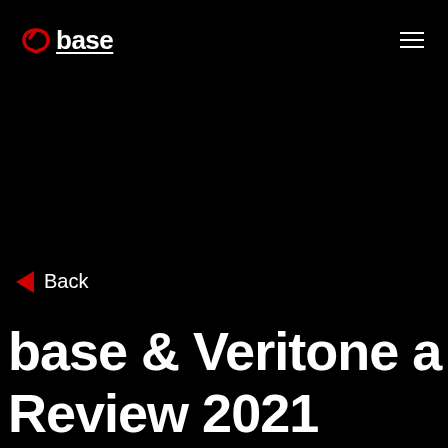base
Back
base & Veritone a Year in Review 2021